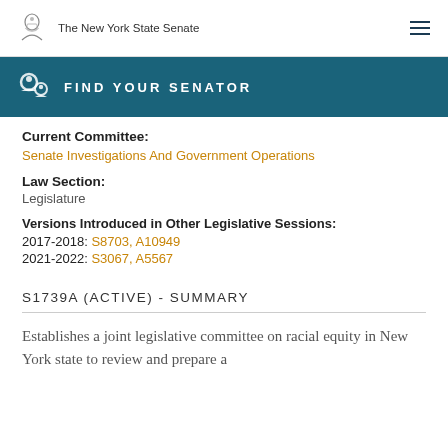The New York State Senate
FIND YOUR SENATOR
Current Committee:
Senate Investigations And Government Operations
Law Section:
Legislature
Versions Introduced in Other Legislative Sessions:
2017-2018: S8703, A10949
2021-2022: S3067, A5567
S1739A (ACTIVE) - SUMMARY
Establishes a joint legislative committee on racial equity in New York state to review and prepare a